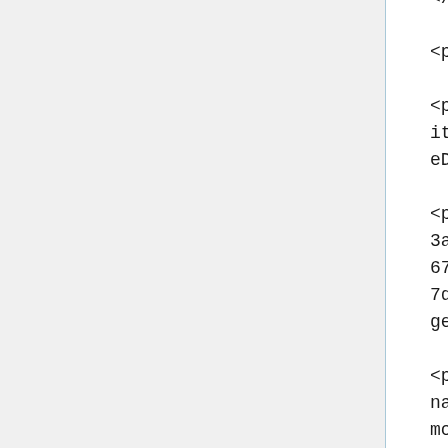</premis:compositionLevel>

<premis:fixity>

<premis:messageDigestAlgorithm>sha256</premis:messageDigestAlgorithm>

<premis:messageDigest>34833a7405974850123afa56de2dfa67f318eb0560b5fd4f8806b2737dfa872c</premis:messageDigest>

<premis:messageDigestOriginator>program="python"; module="hashlib.sha256()"</premis:messageDigestOriginator>

</premis:fixity>

<premis:size>54272</premis:size>